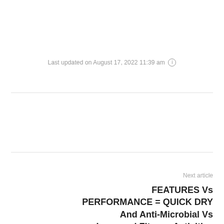Last updated on August 17, 2022 11:39 am ℹ
Next article
FEATURES Vs PERFORMANCE = QUICK DRY And Anti-Microbial Vs Improved Fitness Activities